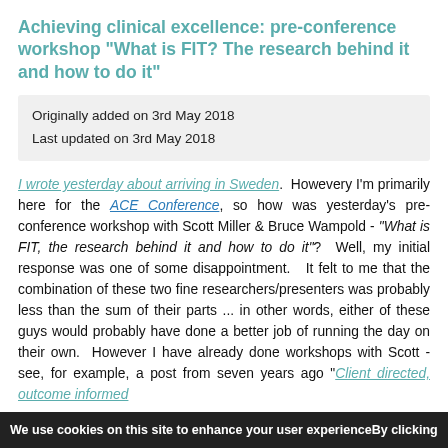Achieving clinical excellence: pre-conference workshop "What is FIT? The research behind it and how to do it"
Originally added on 3rd May 2018
Last updated on 3rd May 2018
I wrote yesterday about arriving in Sweden.  Howevery I'm primarily here for the ACE Conference, so how was yesterday's pre-conference workshop with Scott Miller & Bruce Wampold - "What is FIT, the research behind it and how to do it"?  Well, my initial response was one of some disappointment.   It felt to me that the combination of these two fine researchers/presenters was probably less than the sum of their parts ... in other words, either of these guys would probably have done a better job of running the day on their own.  However I have already done workshops with Scott - see, for example, a post from seven years ago "Client directed, outcome informed
We use cookies on this site to enhance your user experienceBy clicking